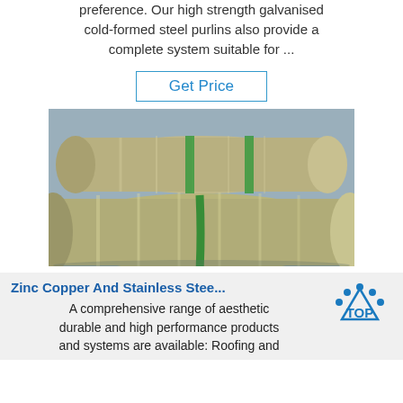preference. Our high strength galvanised cold-formed steel purlins also provide a complete system suitable for ...
Get Price
[Figure (photo): Large shiny metallic steel rolls/coils bundled with green straps, stored on a warehouse floor.]
Zinc Copper And Stainless Stee...
A comprehensive range of aesthetic durable and high performance products and systems are available: Roofing and